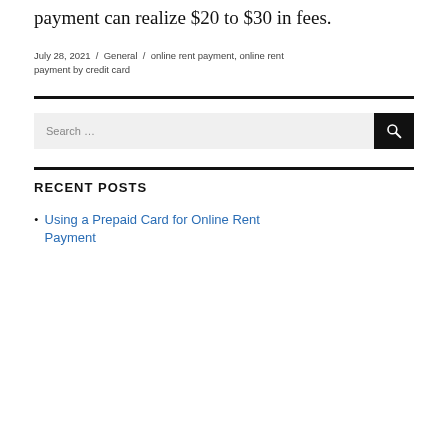payment can realize $20 to $30 in fees.
July 28, 2021 / General / online rent payment, online rent payment by credit card
RECENT POSTS
Using a Prepaid Card for Online Rent Payment